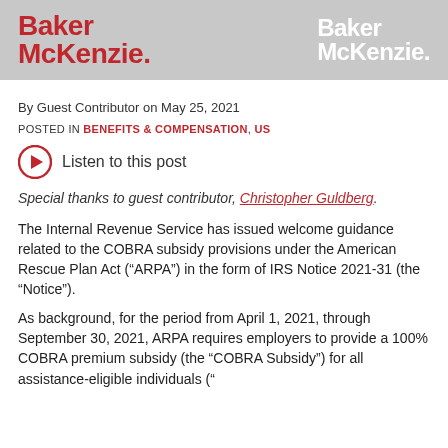Baker McKenzie. Baker McKenzie.
By Guest Contributor on May 25, 2021
POSTED IN BENEFITS & COMPENSATION, US
Listen to this post
Special thanks to guest contributor, Christopher Guldberg.
The Internal Revenue Service has issued welcome guidance related to the COBRA subsidy provisions under the American Rescue Plan Act (“ARPA”) in the form of IRS Notice 2021-31 (the “Notice”).
As background, for the period from April 1, 2021, through September 30, 2021, ARPA requires employers to provide a 100% COBRA premium subsidy (the “COBRA Subsidy”) for all assistance-eligible individuals (“